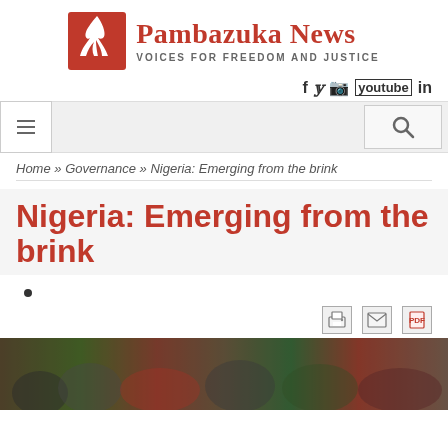[Figure (logo): Pambazuka News logo with red fern leaf icon and text 'Pambazuka News – VOICES FOR FREEDOM AND JUSTICE']
[Figure (infographic): Social media icons row: Facebook, Twitter, Instagram, YouTube, LinkedIn]
[Figure (screenshot): Navigation bar with hamburger menu button on left and search icon button on right, on grey background]
Home » Governance » Nigeria: Emerging from the brink
Nigeria: Emerging from the brink
•
[Figure (infographic): Three action icons: print, email/text, PDF]
[Figure (photo): Wide photo strip showing a crowd of Nigerian people, multiple figures visible, partially cropped]